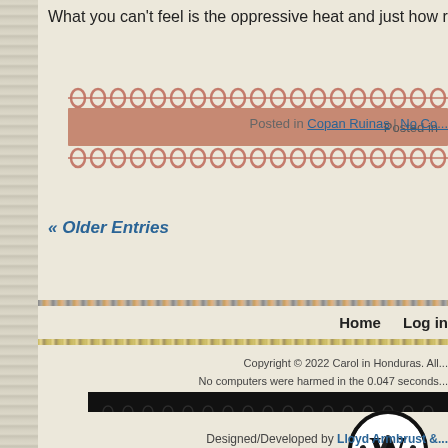What you can't feel is the oppressive heat and just how rough the roads
[Figure (illustration): Decorative banner with salmon/terracotta color bar and looping rope/chain decorative elements above and below, with 'Posted in Copan Ruinas | No Co...' text overlay]
Posted in Copan Ruinas | No Co...
« Older Entries
[Figure (illustration): Horizontal decorative stripe with multicolor pattern (black, pink, gold tones)]
Home    Log in
[Figure (illustration): Horizontal decorative stripe with gold/yellow tone pattern]
Copyright © 2022 Carol in Honduras. All...
No computers were harmed in the 0.047 seconds...
[Figure (illustration): Black horizontal bar with small looping decoration at bottom]
[Figure (logo): WordPress logo - circular black and white W mark]
Designed/Developed by Lloyd Armbrust &...